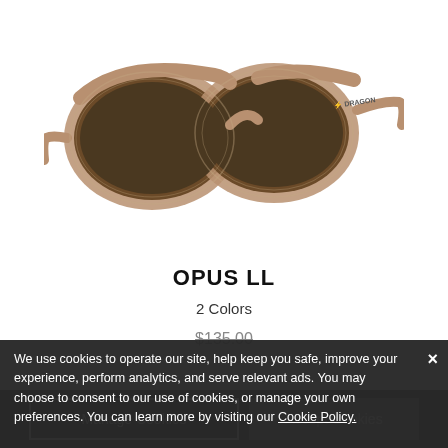[Figure (photo): Product photo of OPUS LL sunglasses with brown tortoise shell frames and dark brown lenses, shown at an angle on white background. Dragon brand logo visible on temple.]
OPUS LL
2 Colors
$135.00
We use cookies to operate our site, help keep you safe, improve your experience, perform analytics, and serve relevant ads. You may choose to consent to our use of cookies, or manage your own preferences. You can learn more by visiting our Cookie Policy.
Manage Cookies
Accept Cookies
[Figure (photo): Partial product photo of second sunglasses with black frames, visible at bottom of page behind cookie overlay.]